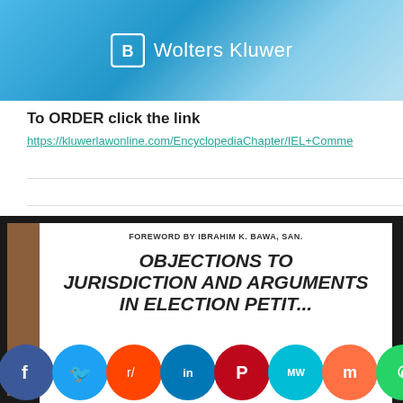[Figure (logo): Wolters Kluwer logo on blue gradient banner background]
To ORDER click the link
https://kluwerlawonline.com/EncyclopediaChapter/IEL+Comme...
[Figure (photo): Book cover showing 'Objections to Jurisdiction and Arguments in Election Petition Litigation' with foreword by Ibrahim K. Bawa, SAN., displayed as a 3D book on dark background with social media sharing icons at the bottom]